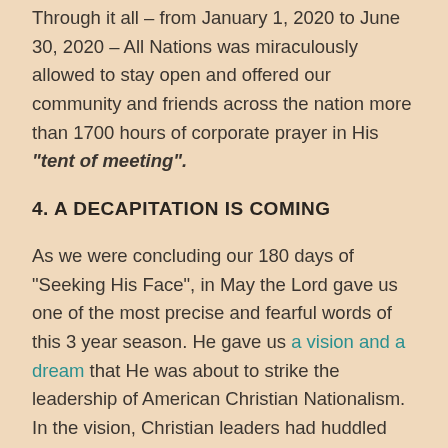Through it all – from January 1, 2020 to June 30, 2020 – All Nations was miraculously allowed to stay open and offered our community and friends across the nation more than 1700 hours of corporate prayer in His "tent of meeting".
4. A DECAPITATION IS COMING
As we were concluding our 180 days of "Seeking His Face", in May the Lord gave us one of the most precise and fearful words of this 3 year season. He gave us a vision and a dream that He was about to strike the leadership of American Christian Nationalism. In the vision, Christian leaders had huddled beneath the Washington Monument during a violent lightening storm. One of the thunderbolts struck the tip, and it fell from the monument. In the